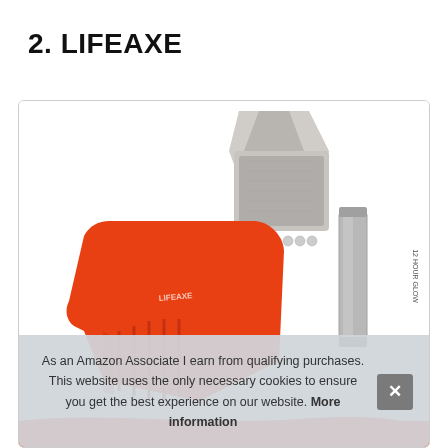2. LIFEAXE
[Figure (photo): Close-up photo of an orange and silver multi-tool (LIFEAXE) with a glow stick beside it, shown inside a bordered product box. At the bottom, an orange tool strap is partially visible.]
As an Amazon Associate I earn from qualifying purchases. This website uses the only necessary cookies to ensure you get the best experience on our website. More information